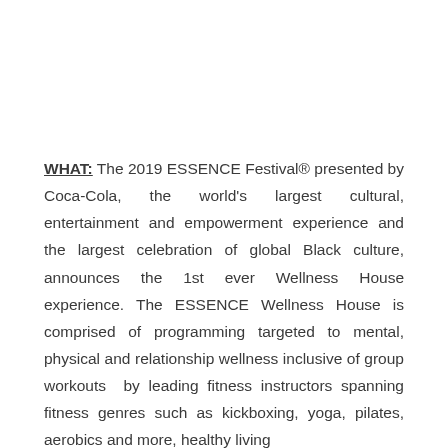WHAT: The 2019 ESSENCE Festival® presented by Coca-Cola, the world's largest cultural, entertainment and empowerment experience and the largest celebration of global Black culture, announces the 1st ever Wellness House experience. The ESSENCE Wellness House is comprised of programming targeted to mental, physical and relationship wellness inclusive of group workouts by leading fitness instructors spanning fitness genres such as kickboxing, yoga, pilates, aerobics and more, healthy living